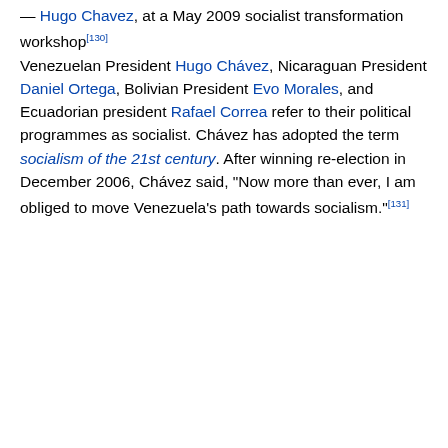— Hugo Chavez, at a May 2009 socialist transformation workshop[130] Venezuelan President Hugo Chávez, Nicaraguan President Daniel Ortega, Bolivian President Evo Morales, and Ecuadorian president Rafael Correa refer to their political programmes as socialist. Chávez has adopted the term socialism of the 21st century. After winning re-election in December 2006, Chávez said, "Now more than ever, I am obliged to move Venezuela's path towards socialism."[131]